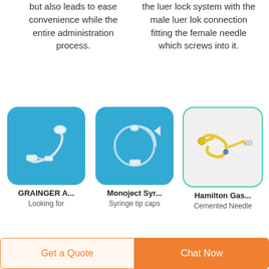but also leads to ease convenience while the entire administration process.
the luer lock system with the male luer lok connection fitting the female needle which screws into it.
[Figure (photo): Medical tube/catheter with connector on blue background - GRAINGER A...]
[Figure (photo): Monoject syringe tip caps coiled tubing set on blue background]
[Figure (photo): Hamilton Gas yellow tubing needle assembly on white background with teal border]
GRAINGER A...
Looking for
Monoject Syr...
Syringe tip caps
Hamilton Gas...
Cemented Needle
Get a Quote
Chat Now